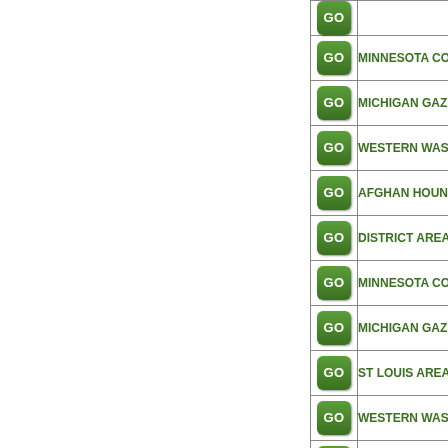| GO | Name |
| --- | --- |
| GO |  |
| GO | MINNESOTA COU... |
| GO | MICHIGAN GAZE... |
| GO | WESTERN WASHI... |
| GO | AFGHAN HOUND... |
| GO | DISTRICT AREA S... |
| GO | MINNESOTA COU... |
| GO | MICHIGAN GAZE... |
| GO | ST LOUIS AREA S... |
| GO | WESTERN WASHI... |
| GO | CIRNECO DELL'E... |
| GO | CENTRAL STATES... In |
| GO | MIDWEST POR... |